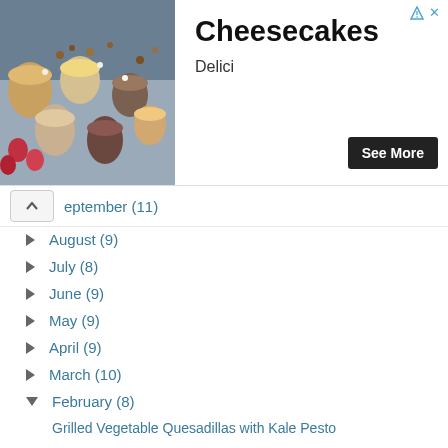[Figure (photo): Advertisement banner showing cheesecakes/desserts in glass jars on a dark surface with strawberries and toppings]
Cheesecakes
See More
Delici
▲ September (11)
► August (9)
► July (8)
► June (9)
► May (9)
► April (9)
► March (10)
▼ February (8)
Grilled Vegetable Quesadillas with Kale Pesto
Vietnamese Pan-Grilled Sesame Beef
Easy Baked Honey-Teriyaki Chicken
Pineapple Coconut Smoothie